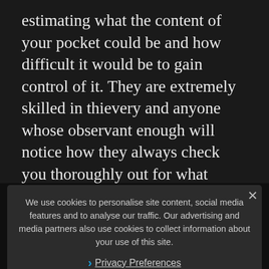estimating what the content of your pocket could be and how difficult it would be to gain control of it. They are extremely skilled in thievery and anyone whose observant enough will notice how they always check you thoroughly out for what could be stolen, even if it will not always lead to an attempt to steal. Intentions are undeniable, though.
We use cookies to personalise site content, social media features and to analyse our traffic. Our advertising and media partners also use cookies to collect information about your use of this site.
Privacy Preferences
I Agree
Angkor Roads
Because Angkor is so overrun with tourists, you will be a difficult... fishy Cambodians even th... ey will relentlessly wait for their moment. This is the reason why